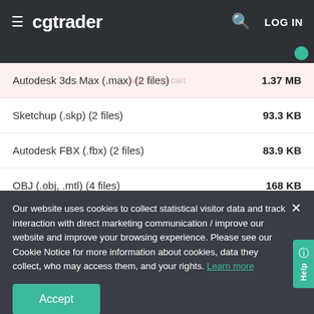cgtrader  LOG IN
| File format | Size |
| --- | --- |
| Autodesk 3ds Max (.max) (2 files) | 1.37 MB |
| Sketchup (.skp) (2 files) | 93.3 KB |
| Autodesk FBX (.fbx) (2 files) | 83.9 KB |
| OBJ (.obj, .mtl) (4 files) | 168 KB |
Our website uses cookies to collect statistical visitor data and track interaction with direct marketing communication / improve our website and improve your browsing experience. Please see our Cookie Notice for more information about cookies, data they collect, who may access them, and your rights. Learn more
20  0